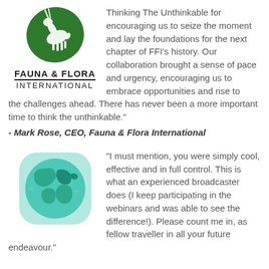[Figure (logo): Fauna & Flora International logo — green antelope silhouette on a leaf, with text FAUNA & FLORA INTERNATIONAL below]
Thinking The Unthinkable for encouraging us to seize the moment and lay the foundations for the next chapter of FFI's history. Our collaboration brought a sense of pace and urgency, encouraging us to embrace opportunities and rise to the challenges ahead. There has never been a more important time to think the unthinkable."
- Mark Rose, CEO, Fauna & Flora International
[Figure (illustration): Globe illustration with teal and green continents on a light teal background, rounded square shape]
"I must mention, you were simply cool, effective and in full control. This is what an experienced broadcaster does (I keep participating in the webinars and was able to see the difference!). Please count me in, as fellow traveller in all your future endeavour."